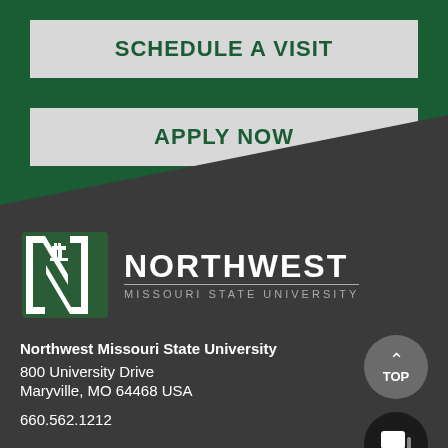[Figure (other): Green background with two button-style links: SCHEDULE A VISIT and APPLY NOW with a dark diagonal cut at bottom right]
[Figure (logo): Northwest Missouri State University logo — green N with tower inside, wordmark NORTHWEST MISSOURI STATE UNIVERSITY in white on dark grey background]
Northwest Missouri State University
800 University Drive
Maryville, MO 64468 USA

660.562.1212